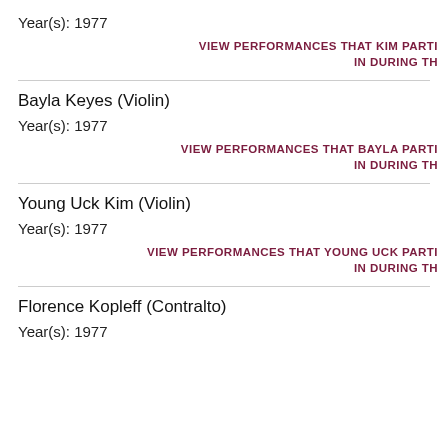Year(s): 1977
VIEW PERFORMANCES THAT KIM PARTI IN DURING TH
Bayla Keyes (Violin)
Year(s): 1977
VIEW PERFORMANCES THAT BAYLA PARTI IN DURING TH
Young Uck Kim (Violin)
Year(s): 1977
VIEW PERFORMANCES THAT YOUNG UCK PARTI IN DURING TH
Florence Kopleff (Contralto)
Year(s): 1977